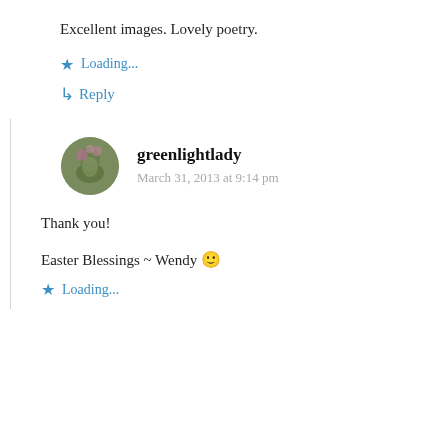Excellent images. Lovely poetry.
Loading...
↳ Reply
greenlightlady
March 31, 2013 at 9:14 pm
Thank you!
Easter Blessings ~ Wendy 🙂
Loading...